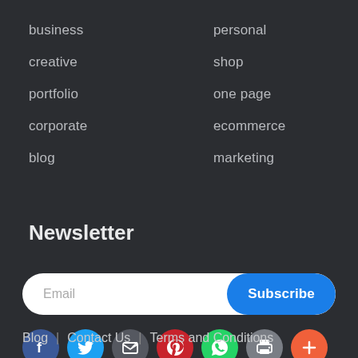business
personal
creative
shop
portfolio
one page
corporate
ecommerce
blog
marketing
Newsletter
Email    Subscribe
[Figure (infographic): Row of 7 social media icon circles: Facebook (dark blue), Twitter (light blue), email/share (dark grey), Pinterest (red), WhatsApp (green), print (grey), plus/more (orange-red)]
Blog  |  Contact Us  |  Terms and Conditions